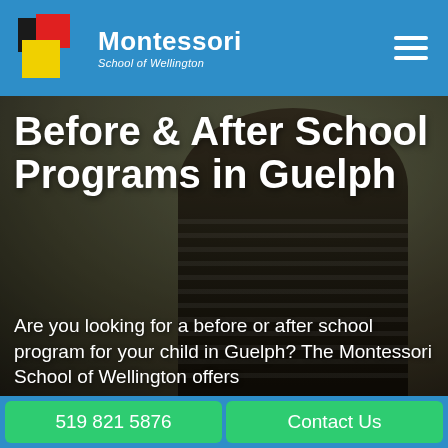Montessori School of Wellington
Before & After School Programs in Guelph
Are you looking for a before or after school program for your child in Guelph? The Montessori School of Wellington offers
[Figure (photo): Child seen from behind wearing a striped sweater, blurred outdoor background]
519 821 5876
Contact Us